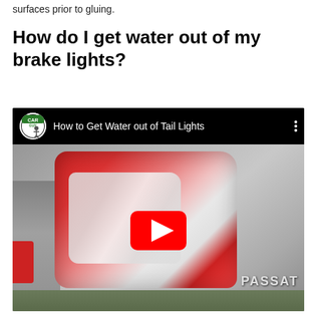surfaces prior to gluing.
How do I get water out of my brake lights?
[Figure (screenshot): YouTube video thumbnail showing a VW Passat tail light with condensation/water inside. Video title bar reads 'How to Get Water out of Tail Lights' with a channel logo labeled 'Car Guy'. Red YouTube play button in center.]